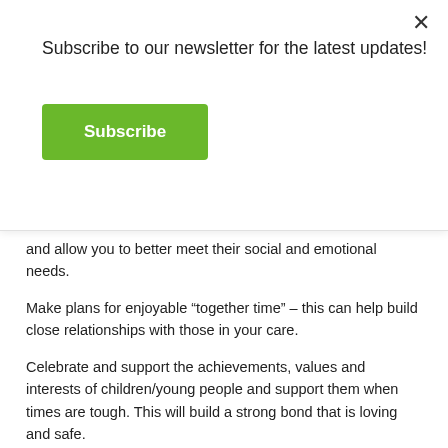Subscribe to our newsletter for the latest updates!
Subscribe
and allow you to better meet their social and emotional needs.
Make plans for enjoyable “together time” – this can help build close relationships with those in your care.
Celebrate and support the achievements, values and interests of children/young people and support them when times are tough. This will build a strong bond that is loving and safe.
Talk about safety and what being unsafe might look and feel like at home, in their community, online or at school, with children and young people. Make plans about what to do if/when they feel uncomfortable and unsafe.
Attend a child safe training course or information session